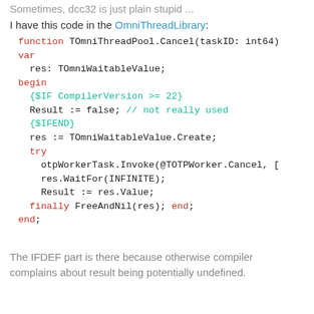Sometimes, dcc32 is just plain stupid ...
I have this code in the OmniThreadLibrary:
function TOmniThreadPool.Cancel(taskID: int64)
var
  res: TOmniWaitableValue;
begin
  {$IF CompilerVersion >= 22}
  Result := false; // not really used
  {$IFEND}
  res := TOmniWaitableValue.Create;
  try
    otpWorkerTask.Invoke(@TOTPWorker.Cancel, [
    res.WaitFor(INFINITE);
    Result := res.Value;
  finally FreeAndNil(res); end;
end;
The IFDEF part is there because otherwise compiler complains about result being potentially undefined.